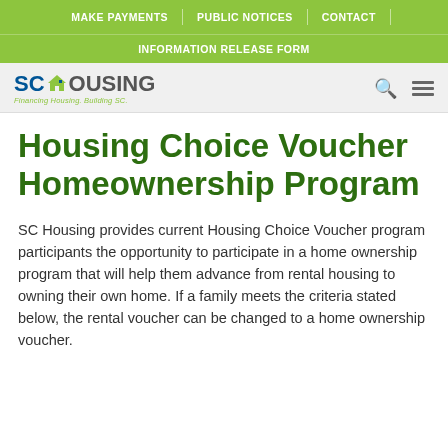MAKE PAYMENTS | PUBLIC NOTICES | CONTACT
INFORMATION RELEASE FORM
[Figure (logo): SC Housing logo with house icon and tagline 'Financing Housing. Building SC.']
Housing Choice Voucher Homeownership Program
SC Housing provides current Housing Choice Voucher program participants the opportunity to participate in a home ownership program that will help them advance from rental housing to owning their own home. If a family meets the criteria stated below, the rental voucher can be changed to a home ownership voucher.